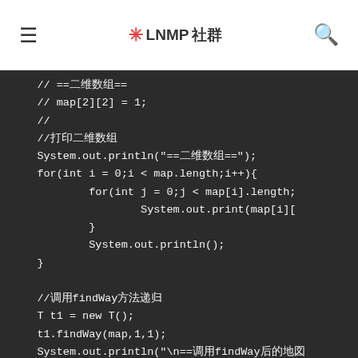≡  ✳ LNMP社群  🔍
[Figure (screenshot): Dark-themed code editor showing Java code snippet with comments and methods including System.out.println, for loops, map array operations, and findWay method calls.]